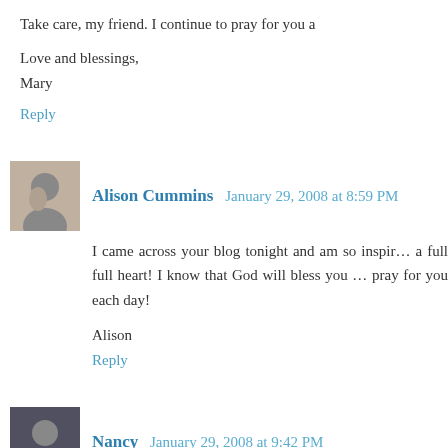Take care, my friend. I continue to pray for you a
Love and blessings,
Mary
Reply
Alison Cummins  January 29, 2008 at 8:59 PM
I came across your blog tonight and am so inspi... a full full heart! I know that God will bless you... pray for you each day!
Alison
Reply
Nancy  January 29, 2008 at 9:42 PM
I found your link through Susie. My mom had t... She was able to have a good quality life for sev...